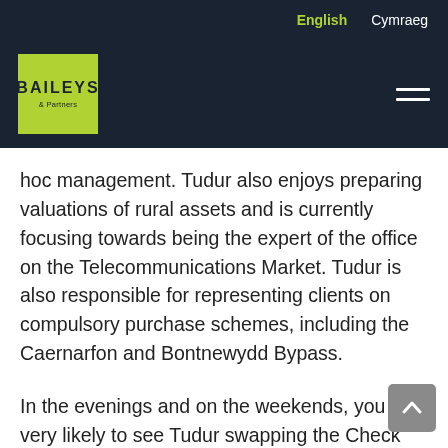English  Cymraeg
[Figure (logo): Baileys & Partners logo — green square with white BAILEYS text]
hoc management. Tudur also enjoys preparing valuations of rural assets and is currently focusing towards being the expert of the office on the Telecommunications Market. Tudur is also responsible for representing clients on compulsory purchase schemes, including the Caernarfon and Bontnewydd Bypass.
In the evenings and on the weekends, you are very likely to see Tudur swapping the Check Shirt, Chinos and Chelsea Boots for a pair of wellingtons and farm clothes, often with a gun folded over his